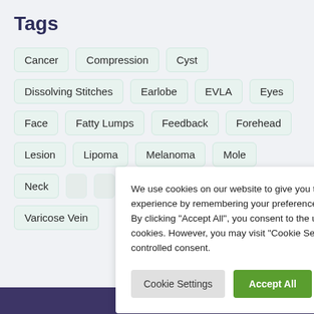Tags
Cancer
Compression
Cyst
Dissolving Stitches
Earlobe
EVLA
Eyes
Face
Fatty Lumps
Feedback
Forehead
Lesion
Lipoma
Melanoma
Mole
Neck
Stitches
Surge...
Varicose Vein
We use cookies on our website to give you the most relevant experience by remembering your preferences and repeat visits. By clicking “Accept All”, you consent to the use of ALL the cookies. However, you may visit “Cookie Settings” to provide a controlled consent.
Cookie Settings
Accept All